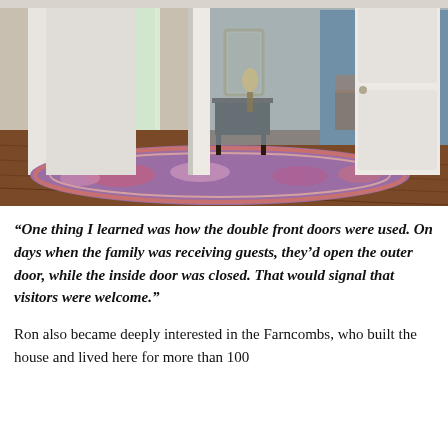[Figure (photo): Interior photo of a historic home entryway showing double white paneled doors open, a colorful floral area rug on hardwood floors, a console table with a mirror above it, and a view through to a blue-walled dining room with chandelier.]
“One thing I learned was how the double front doors were used. On days when the family was receiving guests, they’d open the outer door, while the inside door was closed. That would signal that visitors were welcome.”
Ron also became deeply interested in the Farncombs, who built the house and lived here for more than 100